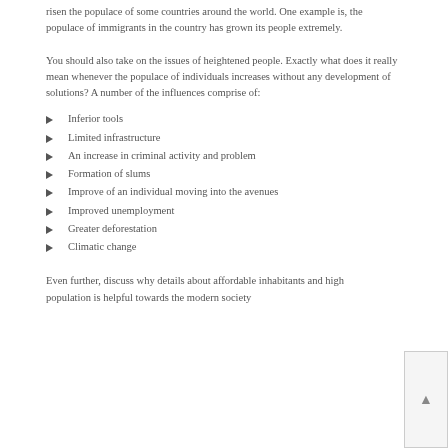risen the populace of some countries around the world. One example is, the populace of immigrants in the country has grown its people extremely.
You should also take on the issues of heightened people. Exactly what does it really mean whenever the populace of individuals increases without any development of solutions? A number of the influences comprise of:
Inferior tools
Limited infrastructure
An increase in criminal activity and problem
Formation of slums
Improve of an individual moving into the avenues
Improved unemployment
Greater deforestation
Climatic change
Even further, discuss why details about affordable inhabitants and high population is helpful towards the modern society